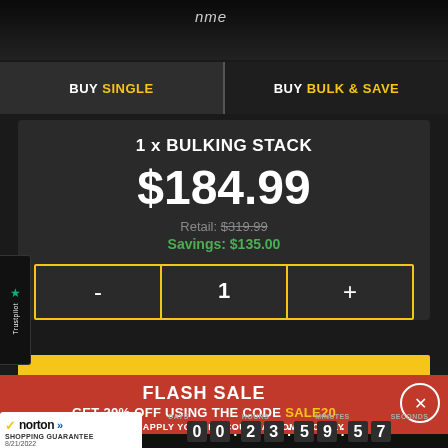BUY SINGLE
BUY BULK & SAVE
1 x BULKING STACK
$184.99
Retail: $319.99
Savings: $135.00
- 1 +
ADD TO CART ▶
FLASH SALE
GET 20% OFF USING THE CODE SALE20
CLICK HERE TO APPLY YOUR DISCOUNT AUTOMATICALLY
OFFER EXPIRES IN
DAYS HOURS MINUTES SECONDS
00:23:59:57
[Figure (logo): Norton Shopping Guarantee badge with checkmark, dated 8/21/2022]
Trustpilot